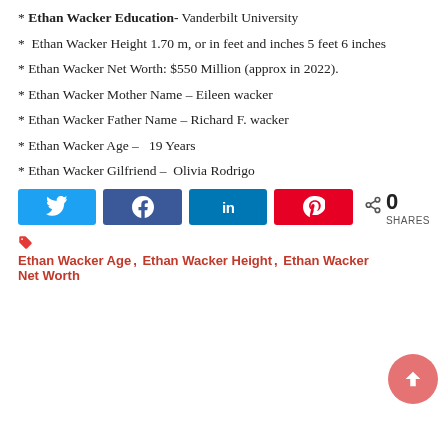* Ethan Wacker Education- Vanderbilt University
* Ethan Wacker Height 1.70 m, or in feet and inches 5 feet 6 inches
* Ethan Wacker Net Worth: $550 Million (approx in 2022).
* Ethan Wacker Mother Name – Eileen wacker
* Ethan Wacker Father Name – Richard F. wacker
* Ethan Wacker Age –   19 Years
* Ethan Wacker Gilfriend –  Olivia Rodrigo
[Figure (infographic): Social share buttons: Twitter, Facebook, LinkedIn, Pinterest, and share count showing 0 SHARES]
Ethan Wacker Age, Ethan Wacker Height, Ethan Wacker Net Worth